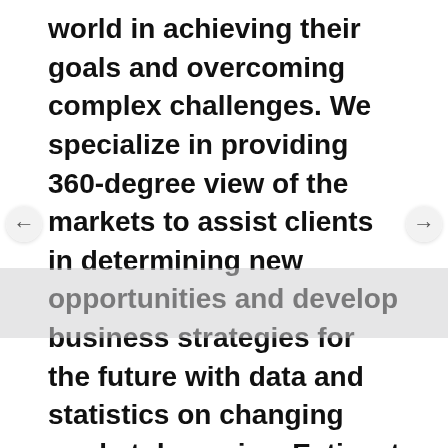world in achieving their goals and overcoming complex challenges. We specialize in providing 360-degree view of the markets to assist clients in determining new opportunities and develop business strategies for the future with data and statistics on changing market dynamics. Esticast Research & Consulting has expert analysts and consultants with an ability to work in collaboration with clients to meet their business needs and give opportunities to thrive in a competitive world. A comprehensive